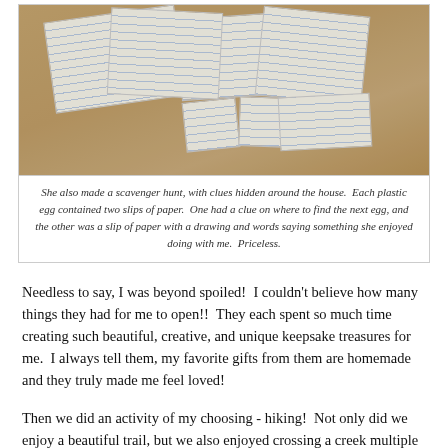[Figure (photo): A photo of multiple folded pieces of lined paper with children's drawings and handwriting, scattered on a wooden surface, resembling scavenger hunt clues.]
She also made a scavenger hunt, with clues hidden around the house.  Each plastic egg contained two slips of paper.  One had a clue on where to find the next egg, and the other was a slip of paper with a drawing and words saying something she enjoyed doing with me.  Priceless.
Needless to say, I was beyond spoiled!  I couldn't believe how many things they had for me to open!!  They each spent so much time creating such beautiful, creative, and unique keepsake treasures for me.  I always tell them, my favorite gifts from them are homemade and they truly made me feel loved!
Then we did an activity of my choosing - hiking!  Not only did we enjoy a beautiful trail, but we also enjoyed crossing a creek multiple times over fallen trees and lots of climbing in a